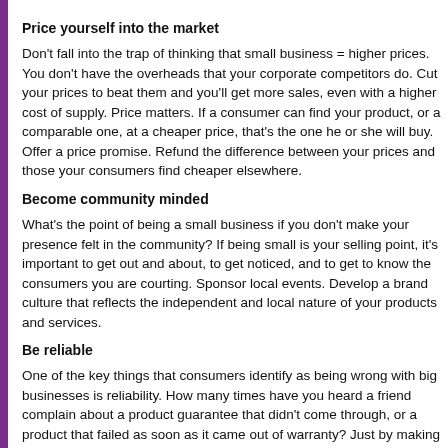Price yourself into the market
Don't fall into the trap of thinking that small business = higher prices. You don't have the overheads that your corporate competitors do. Cut your prices to beat them and you'll get more sales, even with a higher cost of supply. Price matters. If a consumer can find your product, or a comparable one, at a cheaper price, that's the one he or she will buy. Offer a price promise. Refund the difference between your prices and those your consumers find cheaper elsewhere.
Become community minded
What's the point of being a small business if you don't make your presence felt in the community? If being small is your selling point, it's important to get out and about, to get noticed, and to get to know the consumers you are courting. Sponsor local events. Develop a brand culture that reflects the independent and local nature of your products and services.
Be reliable
One of the key things that consumers identify as being wrong with big businesses is reliability. How many times have you heard a friend complain about a product guarantee that didn't come through, or a product that failed as soon as it came out of warranty? Just by making and keeping simple promises you can make a real difference between your business and the larger competitor. Deliveries are important too – make yours reliable by insuring them (Coversure Midlands Ltd has an appropriate policy) to meet consumer expectations.